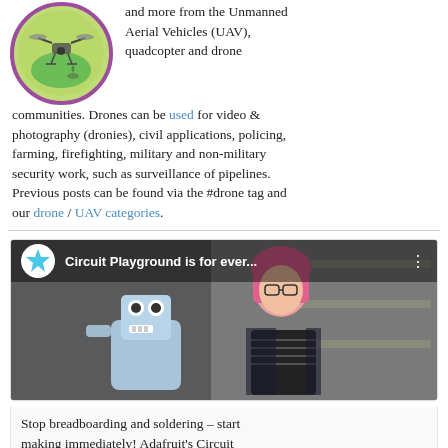[Figure (logo): Circular logo with purple border and green background showing a drone/UAV illustration]
and more from the Unmanned Aerial Vehicles (UAV), quadcopter and drone communities. Drones can be used for video & photography (dronies), civil applications, policing, farming, firefighting, military and non-military security work, such as surveillance of pipelines. Previous posts can be found via the #drone tag and our drone / UAV categories.
[Figure (screenshot): YouTube-style video thumbnail showing a woman with pink hair sitting next to a robot mascot, with a Circuit Playground star logo and title 'Circuit Playground is for ever...' overlay at top, and a play button in the center]
Stop breadboarding and soldering – start making immediately! Adafruit's Circuit